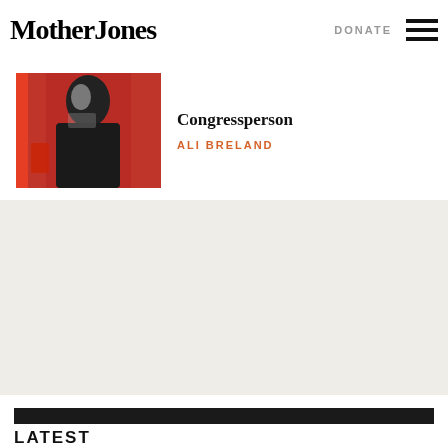Mother Jones
DONATE
[Figure (illustration): Hamburger menu icon — three horizontal black bars]
[Figure (photo): Article thumbnail image showing a person in black and white over a red background]
Congressperson
ALI BRELAND
[Figure (other): Gray advertisement or content placeholder block]
LATEST